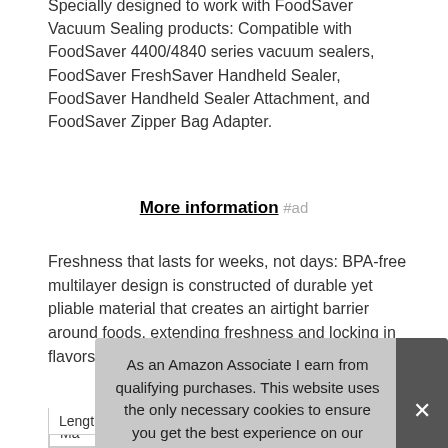Specially designed to work with FoodSaver Vacuum Sealing products: Compatible with FoodSaver 4400/4840 series vacuum sealers, FoodSaver FreshSaver Handheld Sealer, FoodSaver Handheld Sealer Attachment, and FoodSaver Zipper Bag Adapter.
More information #ad
Freshness that lasts for weeks, not days: BPA-free multilayer design is constructed of durable yet pliable material that creates an airtight barrier around foods, extending freshness and locking in flavors.
As an Amazon Associate I earn from qualifying purchases. This website uses the only necessary cookies to ensure you get the best experience on our website. More information
| Ma |  |
| --- | --- |
| Length | 4 Inches |